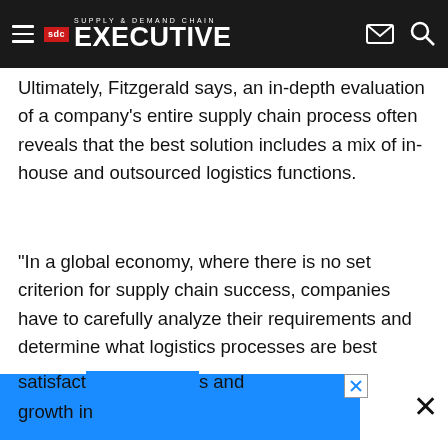Supply & Demand Chain Executive
Ultimately, Fitzgerald says, an in-depth evaluation of a company's entire supply chain process often reveals that the best solution includes a mix of in-house and outsourced logistics functions.
"In a global economy, where there is no set criterion for supply chain success, companies have to carefully analyze their requirements and determine what logistics processes are best suited to meeting their specific and unique global distribution needs," Fitzgerald says. "Cost is always important, but ultimately the success of any global supply chain management process relates back to client satisfaction... and growth in...